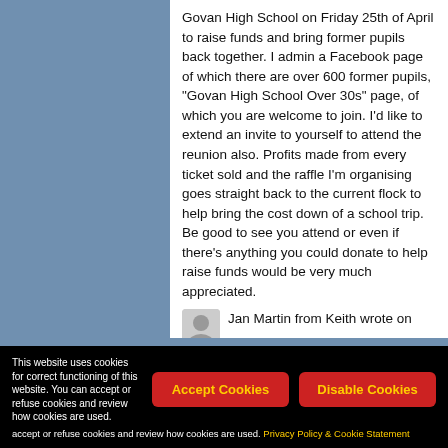Govan High School on Friday 25th of April to raise funds and bring former pupils back together. I admin a Facebook page of which there are over 600 former pupils, "Govan High School Over 30s" page, of which you are welcome to join. I'd like to extend an invite to yourself to attend the reunion also. Profits made from every ticket sold and the raffle I'm organising goes straight back to the current flock to help bring the cost down of a school trip. Be good to see you attend or even if there's anything you could donate to help raise funds would be very much appreciated.
Jan Martin from Keith wrote on
January 10, 2014 at 11:07 pm:
Hi Bill I remember you saying you had
This website uses cookies for correct functioning of this website. You can accept or refuse cookies and review how cookies are used. Privacy Policy & Cookie Statement